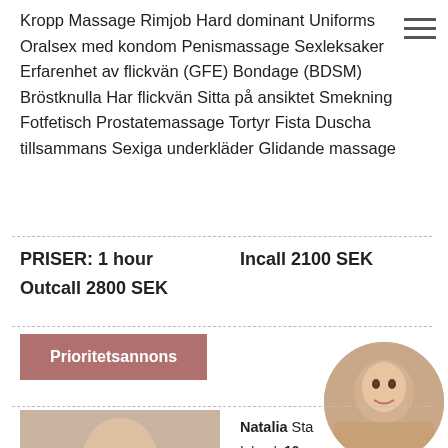Kropp Massage Rimjob Hard dominant Uniforms Oralsex med kondom Penismassage Sexleksaker Erfarenhet av flickvän (GFE) Bondage (BDSM) Bröstknulla Har flickvän Sitta på ansiktet Smekning Fotfetisch Prostatemassage Tortyr Fista Duscha tillsammans Sexiga underkläder Glidande massage
PRISER: 1 hour Outcall 2800 SEK Incall 2100 SEK
Prioritetsannons
Natalia Sta... Inlagd: 10... Profil: 4622... Verification: Incall Outcall: